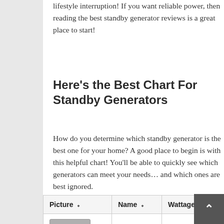lifestyle interruption! If you want reliable power, then reading the best standby generator reviews is a great place to start!
Here’s the Best Chart For Standby Generators
How do you determine which standby generator is the best one for your home? A good place to begin is with this helpful chart! You’ll be able to quickly see which generators can meet your needs… and which ones are best ignored.
| Picture | Name | Wattage |
| --- | --- | --- |
| [image] | Briggs & Stratton | 20,000 |